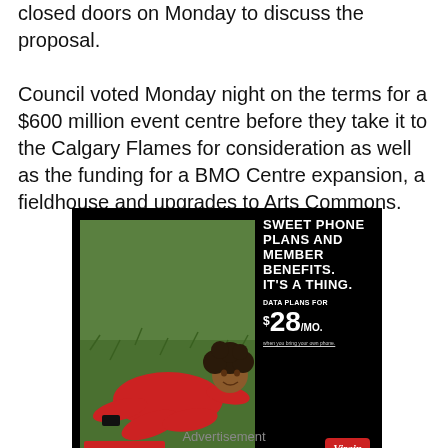closed doors on Monday to discuss the proposal. Council voted Monday night on the terms for a $600 million event centre before they take it to the Calgary Flames for consideration as well as the funding for a BMO Centre expansion, a fieldhouse and upgrades to Arts Commons.
[Figure (photo): Virgin Plus advertisement showing a woman in a red dress lying on grass, with the text 'SWEET PHONE PLANS AND MEMBER BENEFITS. IT’S A THING.' and 'DATA PLANS FOR $28/MO.' A Shop now button and Virgin plus logo are shown at the bottom.]
Advertisement